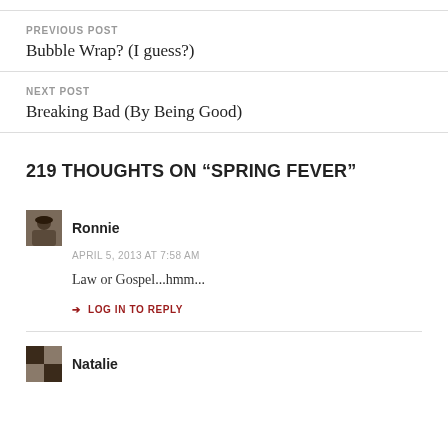PREVIOUS POST
Bubble Wrap? (I guess?)
NEXT POST
Breaking Bad (By Being Good)
219 THOUGHTS ON “SPRING FEVER”
Ronnie
APRIL 5, 2013 AT 7:58 AM
Law or Gospel...hmm...
→ LOG IN TO REPLY
Natalie